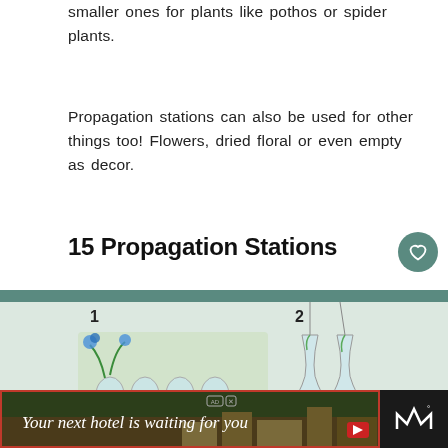smaller ones for plants like pothos or spider plants.
Propagation stations can also be used for other things too! Flowers, dried floral or even empty as decor.
15 Propagation Stations
[Figure (photo): Collage of 7 numbered propagation station images showing various hanging glass vessels and wooden rack stations with plants rooted in water. Numbers 1-7 label each station. A 'WHAT'S NEXT' overlay shows '15 Low Light Pet Friendly...' with a thumbnail. A share button is visible.]
[Figure (infographic): Advertisement banner reading 'Your next hotel is waiting for you' over a scenic hotel image with a red border, plus weather/navigation icons on the right.]